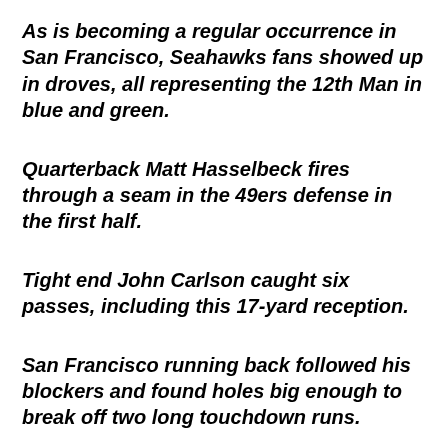As is becoming a regular occurrence in San Francisco, Seahawks fans showed up in droves, all representing the 12th Man in blue and green.
Quarterback Matt Hasselbeck fires through a seam in the 49ers defense in the first half.
Tight end John Carlson caught six passes, including this 17-yard reception.
San Francisco running back followed his blockers and found holes big enough to break off two long touchdown runs.